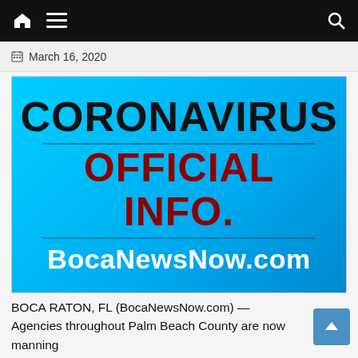Navigation bar with home, menu, and search icons
March 16, 2020
[Figure (infographic): Cyan/blue gradient banner with text: CORONAVIRUS in large black bold letters, OFFICIAL INFO. in large dark red bold letters, BocaNewsNow.com in white bold letters]
BOCA RATON, FL (BocaNewsNow.com) — Agencies throughout Palm Beach County are now manning